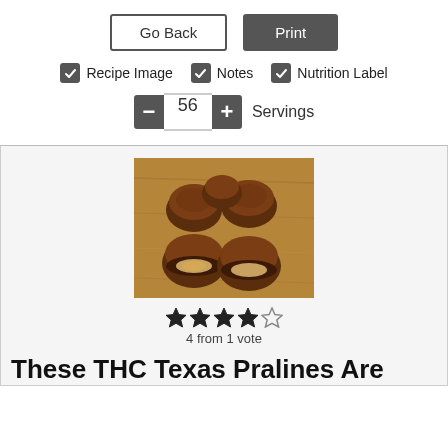[Figure (screenshot): Go Back and Print buttons]
[Figure (screenshot): Checkboxes for Recipe Image, Notes, Nutrition Label]
[Figure (screenshot): Servings stepper showing 56]
[Figure (photo): Photo of chocolate praline candies on a wooden board, some whole and one cut open showing nut filling]
4 from 1 vote
These THC Texas Pralines Are